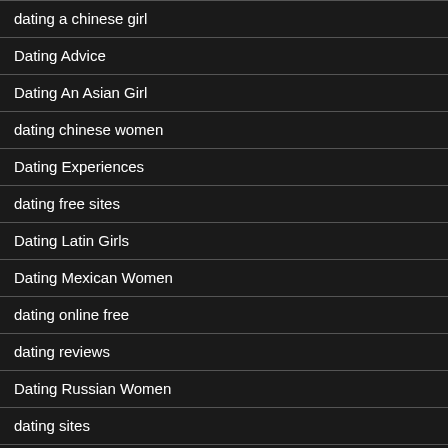dating a chinese girl
Dating Advice
Dating An Asian Girl
dating chinese women
Dating Experiences
dating free sites
Dating Latin Girls
Dating Mexican Women
dating online free
dating reviews
Dating Russian Women
dating sites